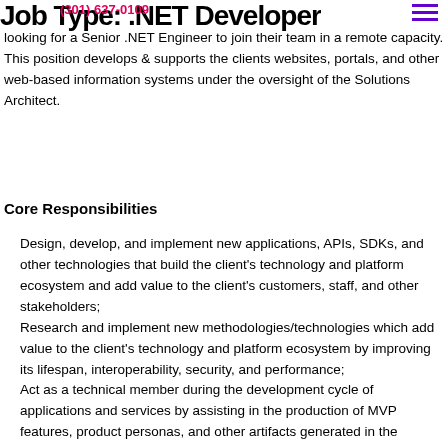Job Type: .NET Developer
looking for a Senior .NET Engineer to join their team in a remote capacity. This position develops & supports the clients websites, portals, and other web-based information systems under the oversight of the Solutions Architect.
Core Responsibilities
Design, develop, and implement new applications, APIs, SDKs, and other technologies that build the client's technology and platform ecosystem and add value to the client's customers, staff, and other stakeholders;
Research and implement new methodologies/technologies which add value to the client's technology and platform ecosystem by improving its lifespan, interoperability, security, and performance;
Act as a technical member during the development cycle of applications and services by assisting in the production of MVP features, product personas, and other artifacts generated in the process;
Identify bottlenecks and bugs and devise solutions to these